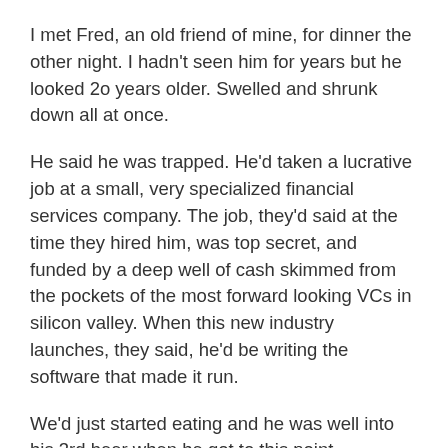I met Fred, an old friend of mine, for dinner the other night. I hadn't seen him for years but he looked 2o years older. Swelled and shrunk down all at once.
He said he was trapped. He'd taken a lucrative job at a small, very specialized financial services company. The job, they'd said at the time they hired him, was top secret, and funded by a deep well of cash skimmed from the pockets of the most forward looking VCs in silicon valley. When this new industry launches, they said, he'd be writing the software that made it run.
We'd just started eating and he was well into his 3rd beer when he got to this point.
The time scale, he said. It's a detail that should have been explored more closely during the interview process. He